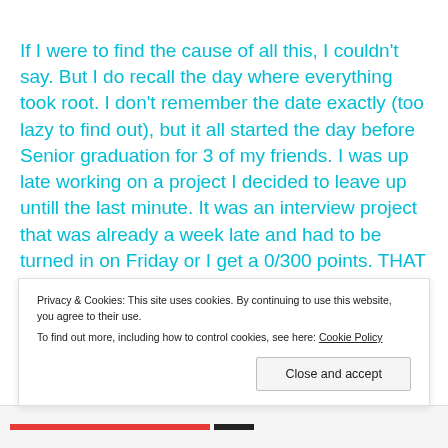If I were to find the cause of all this, I couldn't say. But I do recall the day where everything took root. I don't remember the date exactly (too lazy to find out), but it all started the day before Senior graduation for 3 of my friends. I was up late working on a project I decided to leave up untill the last minute. It was an interview project that was already a week late and had to be turned in on Friday or I get a 0/300 points. THAT would have been a
Privacy & Cookies: This site uses cookies. By continuing to use this website, you agree to their use.
To find out more, including how to control cookies, see here: Cookie Policy
Close and accept